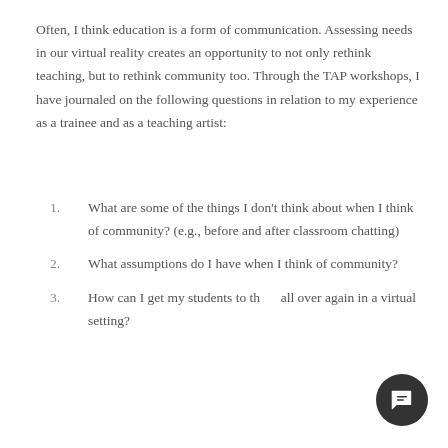Often, I think education is a form of communication. Assessing needs in our virtual reality creates an opportunity to not only rethink teaching, but to rethink community too. Through the TAP workshops, I have journaled on the following questions in relation to my experience as a trainee and as a teaching artist:
1. What are some of the things I don't think about when I think of community? (e.g., before and after classroom chatting)
2. What assumptions do I have when I think of community?
3. How can I get my students to think all over again in a virtual setting?